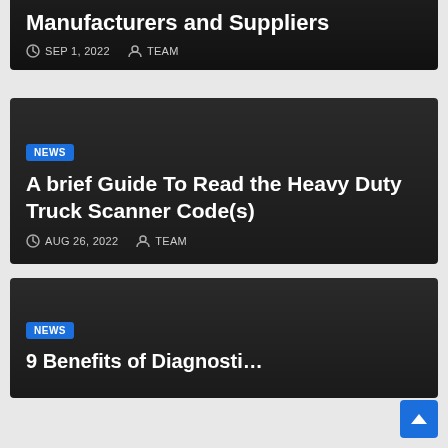Manufacturers and Suppliers
SEP 1, 2022   TEAM
A brief Guide To Read the Heavy Duty Truck Scanner Code(s)
AUG 26, 2022   TEAM
9 Benefits of Diagnostic…